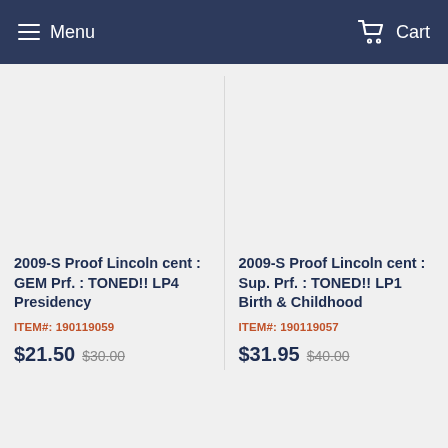Menu  Cart
[Figure (other): Product image placeholder (empty) for 2009-S Proof Lincoln cent GEM Prf. TONED!! LP4 Presidency]
2009-S Proof Lincoln cent : GEM Prf. : TONED!! LP4 Presidency
ITEM#: 190119059
$21.50  $30.00
[Figure (other): Product image placeholder (empty) for 2009-S Proof Lincoln cent Sup. Prf. TONED!! LP1 Birth & Childhood]
2009-S Proof Lincoln cent : Sup. Prf. : TONED!! LP1 Birth & Childhood
ITEM#: 190119057
$31.95  $40.00